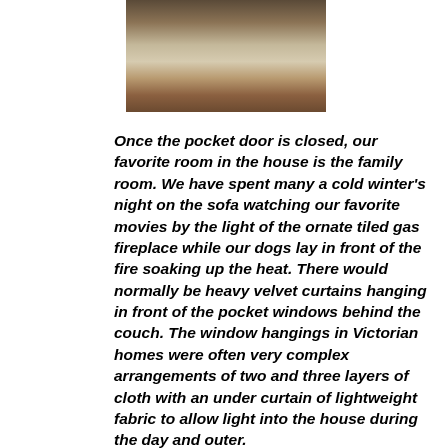[Figure (photo): Interior photo of a Victorian family room showing furniture, a rug, and a fireplace]
Once the pocket door is closed, our favorite room in the house is the family room. We have spent many a cold winter's night on the sofa watching our favorite movies by the light of the ornate tiled gas fireplace while our dogs lay in front of the fire soaking up the heat. There would normally be heavy velvet curtains hanging in front of the pocket windows behind the couch. The window hangings in Victorian homes were often very complex arrangements of two and three layers of cloth with an under curtain of lightweight fabric to allow light into the house during the day and outer.